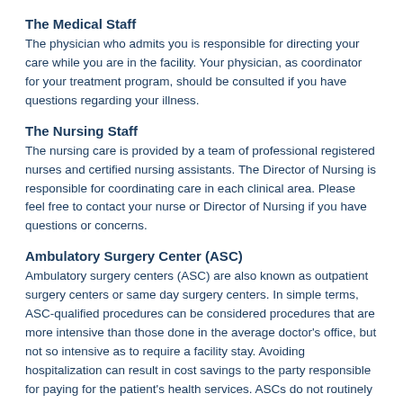The Medical Staff
The physician who admits you is responsible for directing your care while you are in the facility. Your physician, as coordinator for your treatment program, should be consulted if you have questions regarding your illness.
The Nursing Staff
The nursing care is provided by a team of professional registered nurses and certified nursing assistants. The Director of Nursing is responsible for coordinating care in each clinical area. Please feel free to contact your nurse or Director of Nursing if you have questions or concerns.
Ambulatory Surgery Center (ASC)
Ambulatory surgery centers (ASC) are also known as outpatient surgery centers or same day surgery centers. In simple terms, ASC-qualified procedures can be considered procedures that are more intensive than those done in the average doctor's office, but not so intensive as to require a facility stay. Avoiding hospitalization can result in cost savings to the party responsible for paying for the patient's health services. ASCs do not routinely provide emergency services to patients who have not been admitted to the